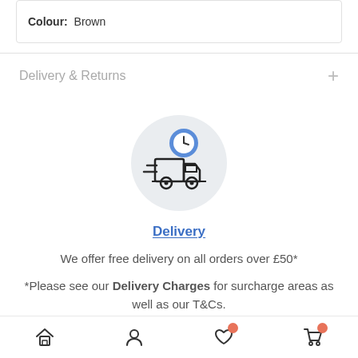Colour: Brown
Delivery & Returns
[Figure (illustration): Delivery truck icon inside a light grey circle, with a blue clock icon above the truck cab]
Delivery
We offer free delivery on all orders over £50*
*Please see our Delivery Charges for surcharge areas as well as our T&Cs.
[Figure (illustration): Bottom navigation bar with home, account, heart/wishlist, and shopping cart icons. Wishlist and cart have salmon/orange notification badges.]